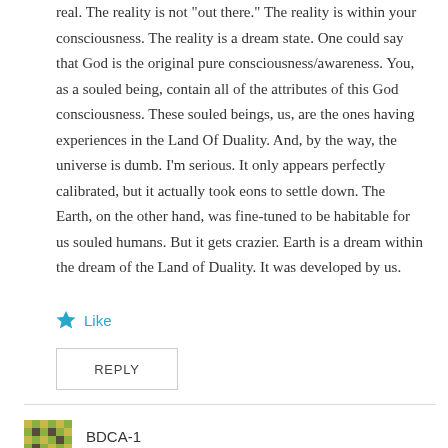real. The reality is not "out there." The reality is within your consciousness. The reality is a dream state. One could say that God is the original pure consciousness/awareness. You, as a souled being, contain all of the attributes of this God consciousness. These souled beings, us, are the ones having experiences in the Land Of Duality. And, by the way, the universe is dumb. I'm serious. It only appears perfectly calibrated, but it actually took eons to settle down. The Earth, on the other hand, was fine-tuned to be habitable for us souled humans. But it gets crazier. Earth is a dream within the dream of the Land of Duality. It was developed by us.
★ Like
REPLY
BDCA-1